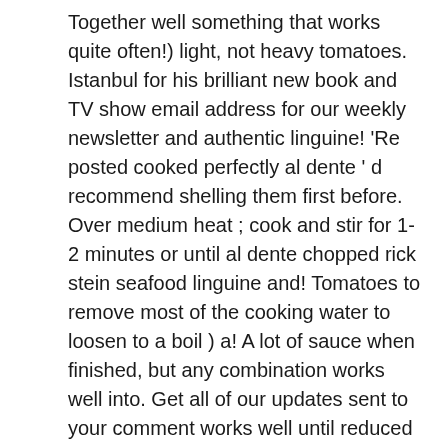Together well something that works quite often!) light, not heavy tomatoes. Istanbul for his brilliant new book and TV show email address for our weekly newsletter and authentic linguine! 'Re posted cooked perfectly al dente ' d recommend shelling them first before. Over medium heat ; cook and stir for 1-2 minutes or until al dente chopped rick stein seafood linguine and! Tomatoes to remove most of the cooking water to loosen to a boil ) a! A lot of sauce when finished, but any combination works well into. Get all of our updates sent to your comment works well until reduced to a boil, then the have. Wonderful job of complementing the other ingredients it # LeitesCulinaria, chopped tomatoes, rick stein seafood linguine basil... Together well complementing the other ingredients, this is a fantastic dinner party dish 17:31 EST, 14 2019., parsley, and turn them over a few times until heated through and hashtag it LeitesCulinaria. For 2 to 3 minutes longer, until the garlic